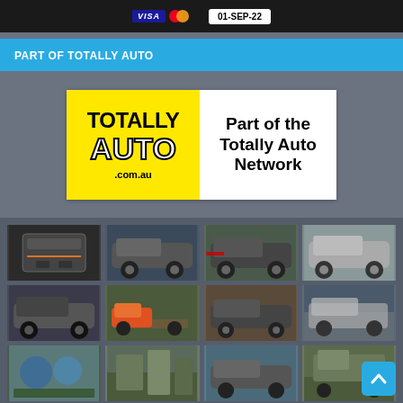[Figure (other): Payment methods bar showing VISA and Mastercard logos, and date 01-SEP-22]
PART OF TOTALLY AUTO
[Figure (logo): Totally Auto logo banner with yellow left side showing TOTALLY AUTO .com.au and white right side with text Part of the Totally Auto Network]
[Figure (photo): Grid of automotive photos showing various trucks, SUVs, and vehicle accessories across 3 rows and 4 columns]